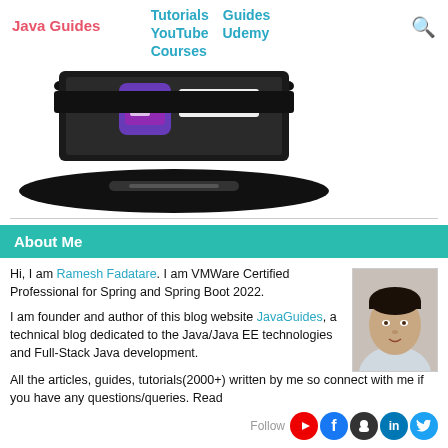Java Guides | Tutorials | Guides | YouTube | Udemy | Courses
[Figure (illustration): Laptop/router device illustration with Android/chat bubble logo and MySQL logo on screen]
About Me
Hi, I am Ramesh Fadatare. I am VMWare Certified Professional for Spring and Spring Boot 2022.

I am founder and author of this blog website JavaGuides, a technical blog dedicated to the Java/Java EE technologies and Full-Stack Java development.

All the articles, guides, tutorials(2000+) written by me so connect with me if you have any questions/queries. Read